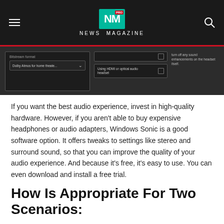NM PRO NEWS MAGAZINE
[Figure (screenshot): Screenshot of Windows audio settings showing Bitstream format dropdown set to 'Dolby Atmos for home theate...' and a checkbox for 'Using HDMI or optical audio headset', with text on the right about turning off sound enhancements on the headset itself.]
If you want the best audio experience, invest in high-quality hardware. However, if you aren't able to buy expensive headphones or audio adapters, Windows Sonic is a good software option. It offers tweaks to settings like stereo and surround sound, so that you can improve the quality of your audio experience. And because it's free, it's easy to use. You can even download and install a free trial.
How Is Appropriate For Two Scenarios: